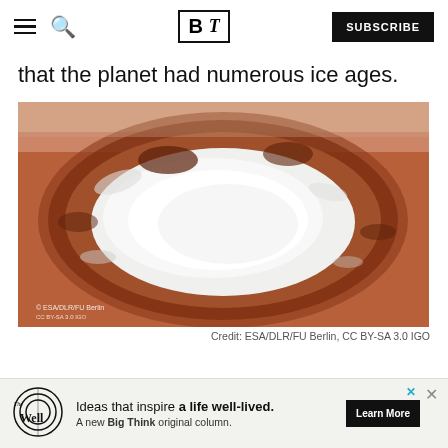BT — Big Think — SUBSCRIBE
that the planet had numerous ice ages.
[Figure (photo): Aerial view of a Martian crater filled with white ice/frost, surrounded by rust-red terrain. Credit watermark visible in lower left.]
Credit: ESA/DLR/FU Berlin, CC BY-SA 3.0 IGO
Ideas that inspire a life well-lived. A new Big Think original column. Learn More